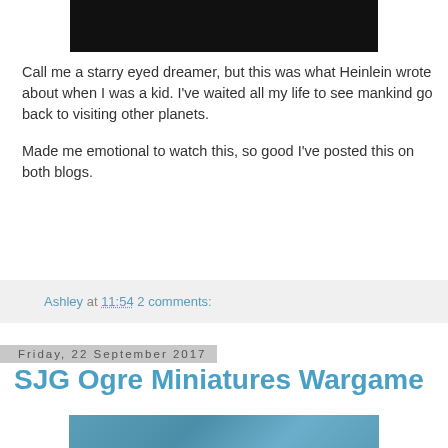[Figure (photo): Dark/black rectangular image at the top, partial view of a video or image, mostly black]
Call me a starry eyed dreamer, but this was what Heinlein wrote about when I was a kid.  I've waited all my life to see mankind go back to visiting other planets.
Made me emotional to watch this, so good I've posted this on both blogs.
Ashley at 11:54    2 comments:
Friday, 22 September 2017
SJG Ogre Miniatures Wargame
[Figure (photo): Partial view of miniature wargame figures on a blue/teal background, showing what appear to be sci-fi or fantasy miniatures]